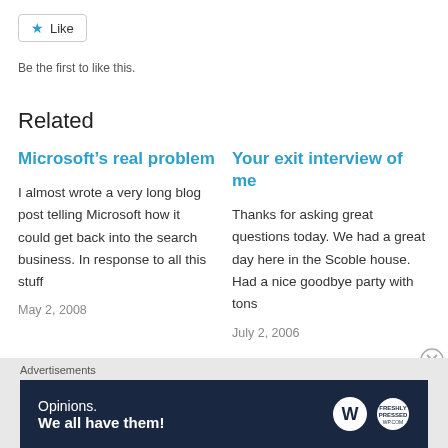[Figure (other): Like button with star icon]
Be the first to like this.
Related
Microsoft’s real problem
I almost wrote a very long blog post telling Microsoft how it could get back into the search business. In response to all this stuff
May 2, 2008
Your exit interview of me
Thanks for asking great questions today. We had a great day here in the Scoble house. Had a nice goodbye party with tons
July 2, 2006
Advertisements
[Figure (other): WordPress advertisement banner: Opinions. We all have them!]